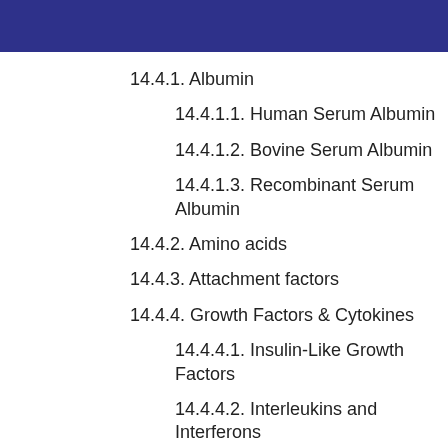14.4.1. Albumin
14.4.1.1. Human Serum Albumin
14.4.1.2. Bovine Serum Albumin
14.4.1.3. Recombinant Serum Albumin
14.4.2. Amino acids
14.4.3. Attachment factors
14.4.4. Growth Factors & Cytokines
14.4.4.1. Insulin-Like Growth Factors
14.4.4.2. Interleukins and Interferons
14.4.4.3. Tumor necrosis factors
14.4.4.4. Others
14.4.5. Protease Inhibitors